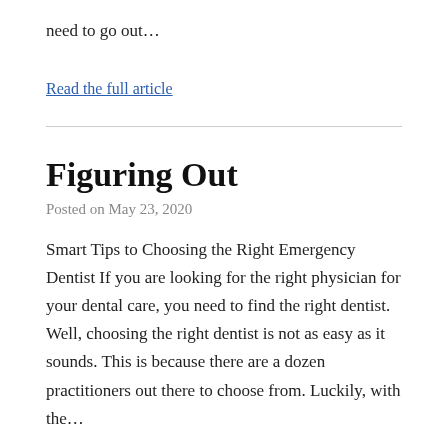need to go out…
Read the full article
Figuring Out
Posted on May 23, 2020
Smart Tips to Choosing the Right Emergency Dentist If you are looking for the right physician for your dental care, you need to find the right dentist. Well, choosing the right dentist is not as easy as it sounds. This is because there are a dozen practitioners out there to choose from. Luckily, with the…
Read the full article